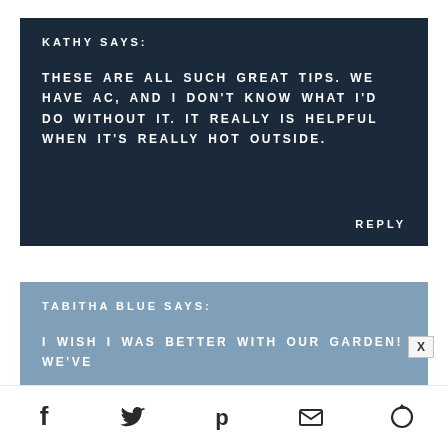KATHY SAYS:
THESE ARE ALL SUCH GREAT TIPS. WE HAVE AC, AND I DON'T KNOW WHAT I'D DO WITHOUT IT. IT REALLY IS HELPFUL WHEN IT'S REALLY HOT OUTSIDE.
REPLY
TABITHA BLUE SAYS:
I WISH I WAS BETTER WITH OUR GARDEN! WE'VE
[Figure (infographic): Social share bar with icons for Facebook, Twitter, Pinterest, Email, and another sharing service]